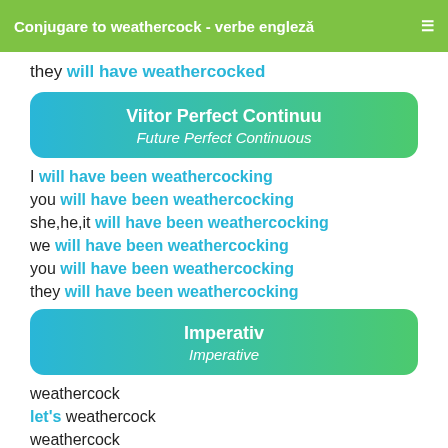Conjugare to weathercock - verbe engleză
they will have weathercocked
Viitor Perfect Continuu / Future Perfect Continuous
I will have been weathercocking
you will have been weathercocking
she,he,it will have been weathercocking
we will have been weathercocking
you will have been weathercocking
they will have been weathercocking
Imperativ / Imperative
weathercock
let's weathercock
weathercock